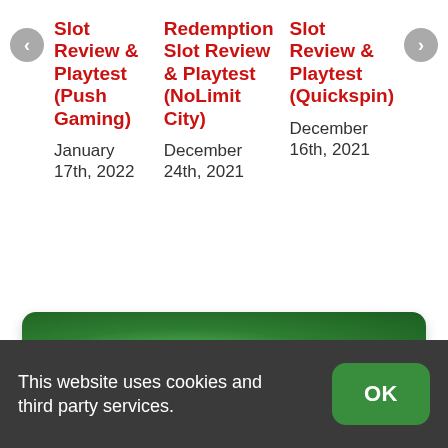Slot Review & Playtest (Push Gaming)
January 17th, 2022
Redemption Slot Review & Playtest (NoLimit City)
December 24th, 2021
Slot Review & Playtest (Quickspin)
December 16th, 2021
EXCLUSIVE OFFERS
This website uses cookies and third party services.
OK